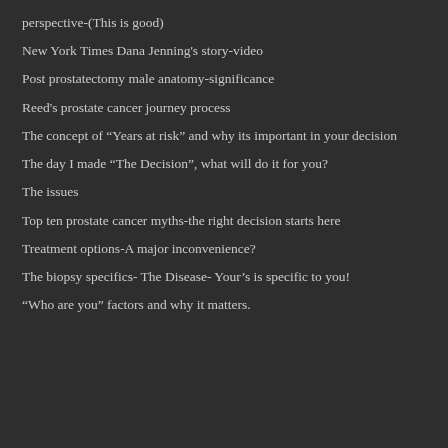perspective-(This is good)
New York Times Dana Jenning's story-video
Post prostatectomy male anatomy-significance
Reed's prostate cancer journey process
The concept of “Years at risk” and why its important in your decision
The day I made “The Decision”, what will do it for you?
The issues
Top ten prostate cancer myths-the right decision starts here
Treatment options-A major inconvenience?
The biopsy specifics- The Disease- Your’s is specific to you!
“Who are you” factors and why it matters.